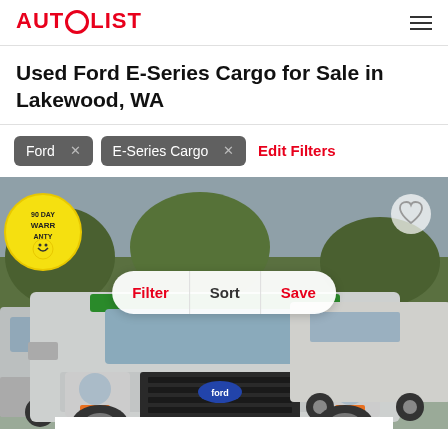AUTOLIST
Used Ford E-Series Cargo for Sale in Lakewood, WA
Ford ×
E-Series Cargo ×
Edit Filters
[Figure (photo): Photo of a used Ford E-Series Cargo van at a dealership, with yellow warranty sign visible, and overlay buttons: Filter, Sort, Save. A heart icon is in the top right corner.]